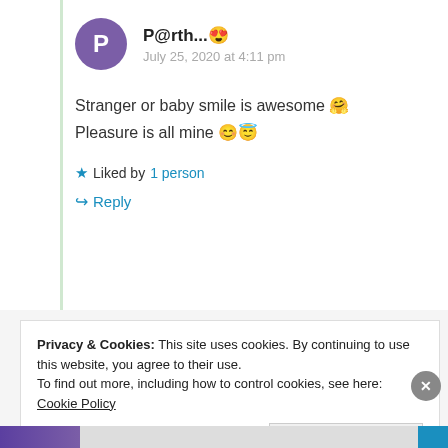P@rth...😊 — July 25, 2020 at 4:11 pm
Stranger or baby smile is awesome 🤗 Pleasure is all mine 😊😇
★ Liked by 1 person
↪ Reply
Privacy & Cookies: This site uses cookies. By continuing to use this website, you agree to their use.
To find out more, including how to control cookies, see here: Cookie Policy